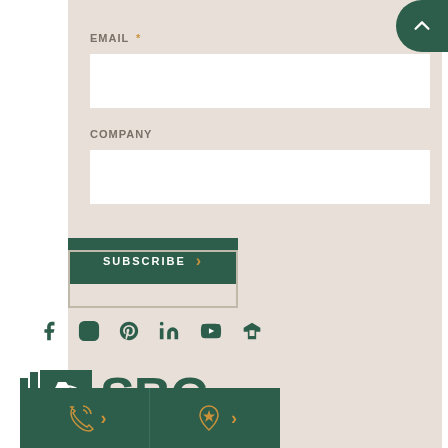EMAIL *
COMPANY
SUBSCRIBE
[Figure (illustration): Social media icons row: Facebook, Instagram, Pinterest, LinkedIn, YouTube, Houzz, all in dark green]
[Figure (logo): SBC Cedar logo with green tree emblem and SBC CEDAR text in dark green]
[Figure (illustration): Two dark green CTA button strips at the bottom with phone/contact icon and location/find a dealer icon, each with a gold chevron arrow]